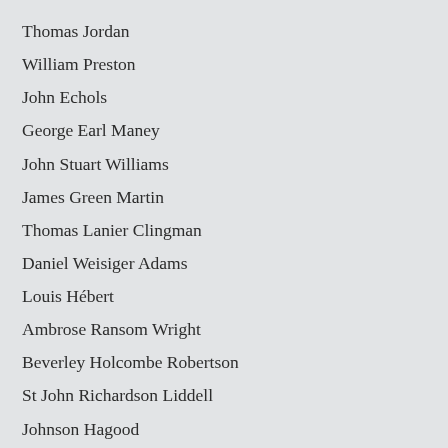Thomas Jordan
William Preston
John Echols
George Earl Maney
John Stuart Williams
James Green Martin
Thomas Lanier Clingman
Daniel Weisiger Adams
Louis Hébert
Ambrose Ransom Wright
Beverley Holcombe Robertson
St John Richardson Liddell
Johnson Hagood
Harry Thompson Hays